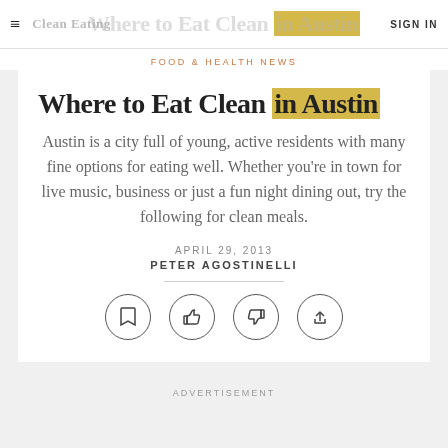FOOD & HEALTH NEWS
Clean Eating  |  WHERE TO  SIGN IN
Where to Eat Clean in Austin
Austin is a city full of young, active residents with many fine options for eating well. Whether you're in town for live music, business or just a fun night dining out, try the following for clean meals.
APRIL 29, 2013
PETER AGOSTINELLI
[Figure (infographic): Four circular icon buttons: bookmark, thumbs up, thumbs down, share]
ADVERTISEMENT